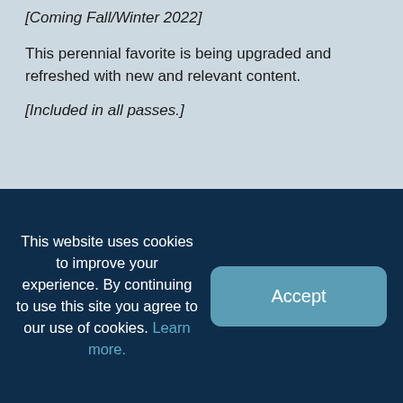[Coming Fall/Winter 2022]
This perennial favorite is being upgraded and refreshed with new and relevant content.
[Included in all passes.]
This website uses cookies to improve your experience. By continuing to use this site you agree to our use of cookies. Learn more.
Accept
Upgraded Platform
[Coming Fall 2022] The FranklinCovey Impact